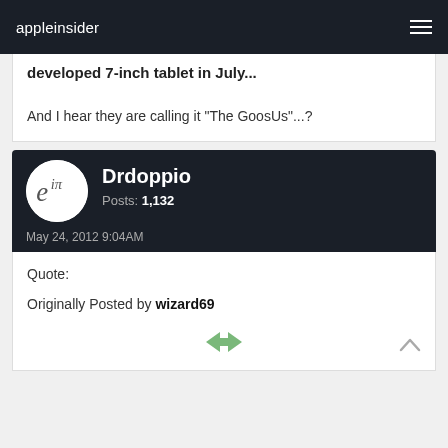appleinsider
developed 7-inch tablet in July...
And I hear they are calling it "The GoosUs"...?
Drdoppio
Posts: 1,132
May 24, 2012 9:04AM
Quote:
Originally Posted by wizard69